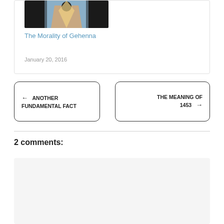[Figure (illustration): Partial view of an article card showing an illustration (figure with blue tones, dark silhouette) above a title link.]
The Morality of Gehenna
January 20, 2016
← ANOTHER FUNDAMENTAL FACT
THE MEANING OF 1453 →
2 comments:
Dan in the UK says:
May 23, 2022 at 2:02 am